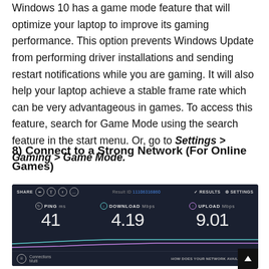Windows 10 has a game mode feature that will optimize your laptop to improve its gaming performance. This option prevents Windows Update from performing driver installations and sending restart notifications while you are gaming. It will also help your laptop achieve a stable frame rate which can be very advantageous in games. To access this feature, search for Game Mode using the search feature in the start menu. Or, go to Settings > Gaming > Game Mode.
8) Connect to a Strong Network (For Online Games)
[Figure (screenshot): Speedtest.net results showing PING 41 ms, DOWNLOAD 4.19 Mbps, UPLOAD 9.01 Mbps with graph lines and connection info]